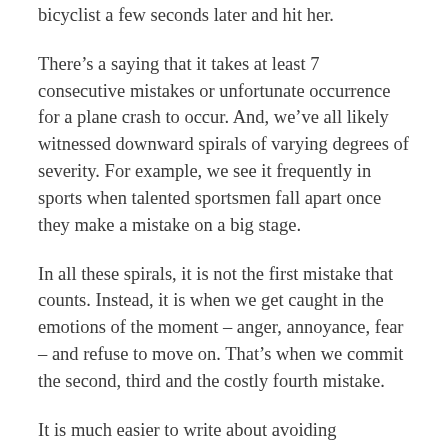bicyclist a few seconds later and hit her.
There’s a saying that it takes at least 7 consecutive mistakes or unfortunate occurrence for a plane crash to occur. And, we’ve all likely witnessed downward spirals of varying degrees of severity. For example, we see it frequently in sports when talented sportsmen fall apart once they make a mistake on a big stage.
In all these spirals, it is not the first mistake that counts. Instead, it is when we get caught in the emotions of the moment – anger, annoyance, fear – and refuse to move on. That’s when we commit the second, third and the costly fourth mistake.
It is much easier to write about avoiding downward spirals than it is to do it – especially if